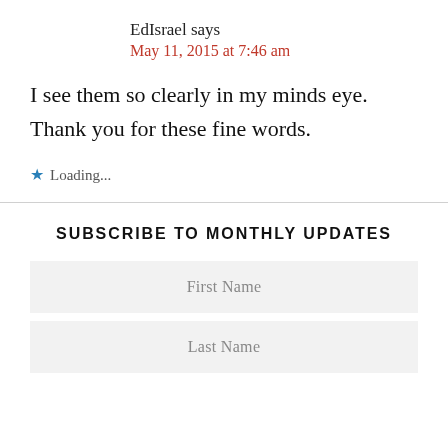EdIsrael says
May 11, 2015 at 7:46 am
I see them so clearly in my minds eye. Thank you for these fine words.
Loading...
SUBSCRIBE TO MONTHLY UPDATES
First Name
Last Name